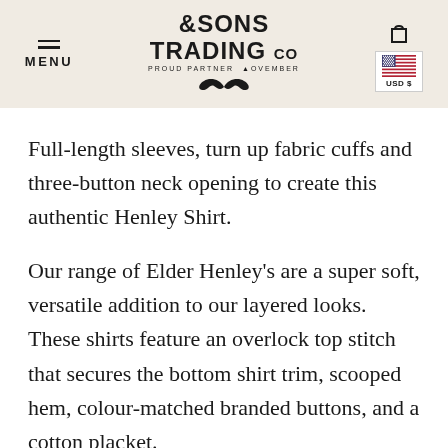& SONS TRADING CO — PROUD PARTNER MOVEMBER — MENU — USD $
Full-length sleeves, turn up fabric cuffs and three-button neck opening to create this authentic Henley Shirt.
Our range of Elder Henley's are a super soft, versatile addition to our layered looks. These shirts feature an overlock top stitch that secures the bottom shirt trim, scooped hem, colour-matched branded buttons, and a cotton placket.